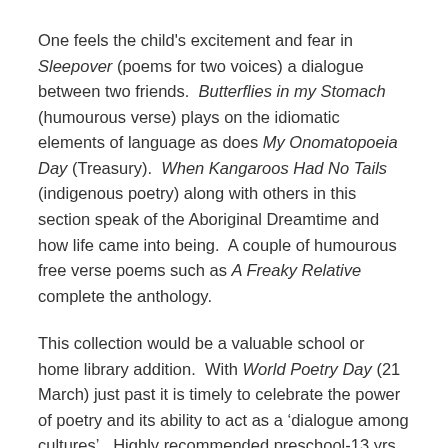One feels the child's excitement and fear in Sleepover (poems for two voices) a dialogue between two friends.  Butterflies in my Stomach (humourous verse) plays on the idiomatic elements of language as does My Onomatopoeia Day (Treasury).  When Kangaroos Had No Tails (indigenous poetry) along with others in this section speak of the Aboriginal Dreamtime and how life came into being.  A couple of humourous free verse poems such as A Freaky Relative complete the anthology.
This collection would be a valuable school or home library addition.  With World Poetry Day (21 March) just past it is timely to celebrate the power of poetry and its ability to act as a ‘dialogue among cultures’.  Highly recommended preschool-13 yrs.